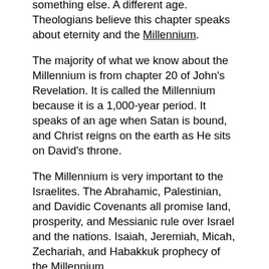something else. A different age. Theologians believe this chapter speaks about eternity and the Millennium.
The majority of what we know about the Millennium is from chapter 20 of John's Revelation. It is called the Millennium because it is a 1,000-year period. It speaks of an age when Satan is bound, and Christ reigns on the earth as He sits on David's throne.
The Millennium is very important to the Israelites. The Abrahamic, Palestinian, and Davidic Covenants all promise land, prosperity, and Messianic rule over Israel and the nations. Isaiah, Jeremiah, Micah, Zechariah, and Habakkuk prophecy of the Millennium.
The reason we need to understand the Millennium and how it relates to Isaiah 65 is that during the Millennium, people are born, and people die. Therefore, we believe Isaiah 65 speaks of both the age eternity and the age of the Millennium. If we approach the passage thinking Isaiah only speaks of eternity, we will not understand how people die or give birth, and it will contradict what